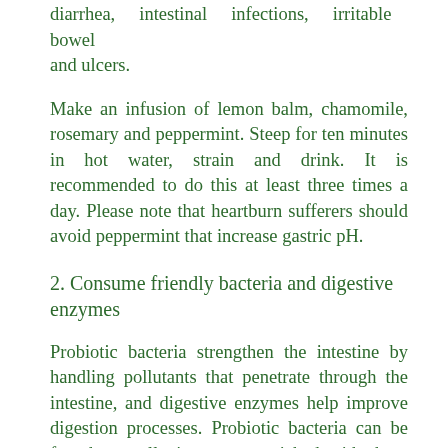diarrhea, intestinal infections, irritable bowel and ulcers.
Make an infusion of lemon balm, chamomile, rosemary and peppermint. Steep for ten minutes in hot water, strain and drink. It is recommended to do this at least three times a day. Please note that heartburn sufferers should avoid peppermint that increase gastric pH.
2. Consume friendly bacteria and digestive enzymes
Probiotic bacteria strengthen the intestine by handling pollutants that penetrate through the intestine, and digestive enzymes help improve digestion processes. Probiotic bacteria can be found naturally in yogurt enriched with these bacteria, or you can purchase a supplement in health food stores. Digestive enzymes are more difficult to get through food, but you can still find a small amount of them in pineapple and papaya.
In many cases there is a connection between skin problems or infections in the body and lack of friendly bacteria, and digestive enzymes. Therefore, they are